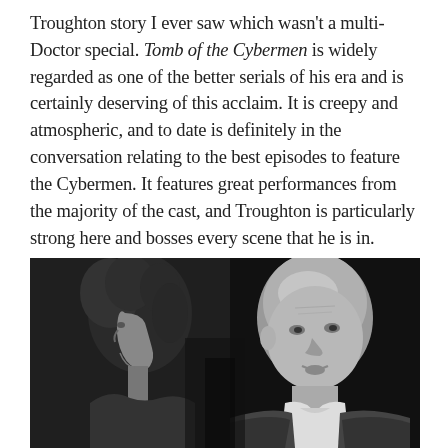Troughton story I ever saw which wasn't a multi-Doctor special. Tomb of the Cybermen is widely regarded as one of the better serials of his era and is certainly deserving of this acclaim. It is creepy and atmospheric, and to date is definitely in the conversation relating to the best episodes to feature the Cybermen. It features great performances from the majority of the cast, and Troughton is particularly strong here and bosses every scene that he is in.
[Figure (photo): Black and white photograph showing two people: a woman with curly dark hair seen in profile on the left, and a bald man facing slightly toward the camera on the right, appearing to speak. The background is dark.]